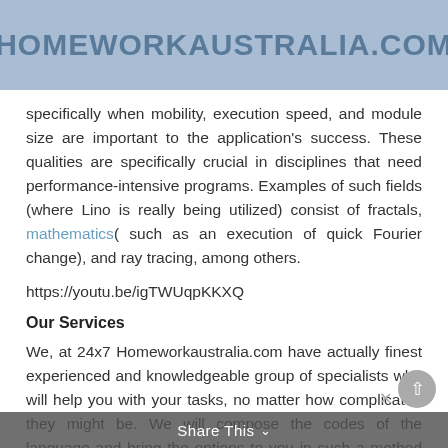HOMEWORKAUSTRALIA.COM
specifically when mobility, execution speed, and module size are important to the application's success. These qualities are specifically crucial in disciplines that need performance-intensive programs. Examples of such fields (where Lino is really being utilized) consist of fractals, mathematics( such as an execution of quick Fourier change), and ray tracing, among others.
https://youtu.be/igTWUqpKKXQ
Our Services
We, at 24x7 Homeworkaustralia.com have actually finest experienced and knowledgeable group of specialists who will help you with your tasks, no matter how complicated they might be. We will compose the codes of the language and bring the options to you in such a method that they are useful for you in the long term. You can be guaranteed to be benefited with our